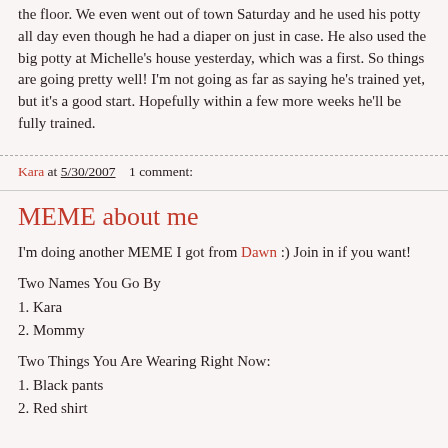the floor. We even went out of town Saturday and he used his potty all day even though he had a diaper on just in case. He also used the big potty at Michelle's house yesterday, which was a first. So things are going pretty well! I'm not going as far as saying he's trained yet, but it's a good start. Hopefully within a few more weeks he'll be fully trained.
Kara at 5/30/2007    1 comment:
MEME about me
I'm doing another MEME I got from Dawn :) Join in if you want!
Two Names You Go By
1. Kara
2. Mommy
Two Things You Are Wearing Right Now:
1. Black pants
2. Red shirt